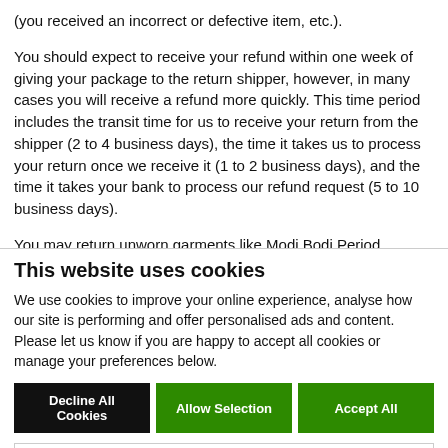(you received an incorrect or defective item, etc.).
You should expect to receive your refund within one week of giving your package to the return shipper, however, in many cases you will receive a refund more quickly. This time period includes the transit time for us to receive your return from the shipper (2 to 4 business days), the time it takes us to process your return once we receive it (1 to 2 business days), and the time it takes your bank to process our refund request (5 to 10 business days).
You may return unworn garments like Modi Bodi Period Underwear or Boba baby wraps only in original unopened packaging for a credit or refund within 30 days of your purchase.
If you need to return an item, simply send us an email telling us what the item is and why you wish to return it. We will then email you instructions on
This website uses cookies
We use cookies to improve your online experience, analyse how our site is performing and offer personalised ads and content. Please let us know if you are happy to accept all cookies or manage your preferences below.